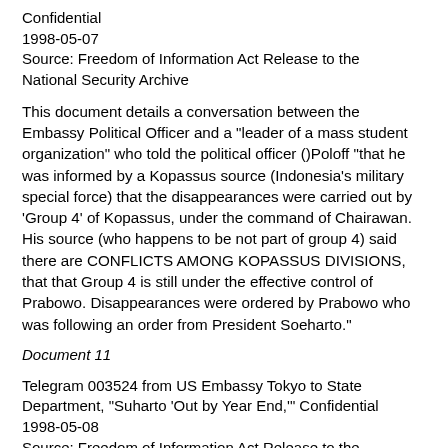Confidential
1998-05-07
Source: Freedom of Information Act Release to the National Security Archive
This document details a conversation between the Embassy Political Officer and a "leader of a mass student organization" who told the political officer ()Poloff "that he was informed by a Kopassus source (Indonesia's military special force) that the disappearances were carried out by 'Group 4' of Kopassus, under the command of Chairawan. His source (who happens to be not part of group 4) said there are CONFLICTS AMONG KOPASSUS DIVISIONS, that that Group 4 is still under the effective control of Prabowo. Disappearances were ordered by Prabowo who was following an order from President Soeharto."
Document 11
Telegram 003524 from US Embassy Tokyo to State Department, "Suharto 'Out by Year End,'" Confidential
1998-05-08
Source: Freedom of Information Act Release to the National Security Archive